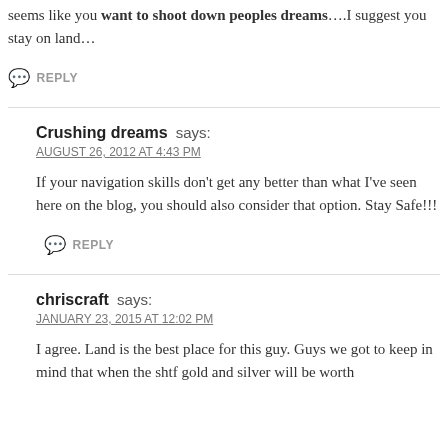seems like you want to shoot down peoples dreams….I suggest you stay on land…
REPLY
Crushing dreams says:
AUGUST 26, 2012 AT 4:43 PM
If your navigation skills don't get any better than what I've seen here on the blog, you should also consider that option. Stay Safe!!!
REPLY
chriscraft says:
JANUARY 23, 2015 AT 12:02 PM
I agree. Land is the best place for this guy. Guys we got to keep in mind that when the shtf gold and silver will be worth